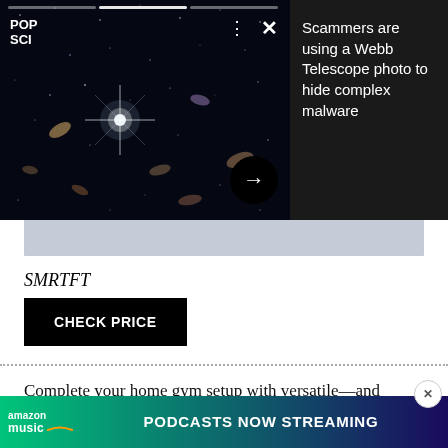[Figure (screenshot): Pop Sci branded advertisement overlay showing a space/galaxy photo (James Webb telescope image) with 'Scammers are using a Webb Telescope photo to hide complex malware' headline, with navigation controls and progress bar]
SMRTFT
CHECK PRICE
Complete your home gym setup with versatile—and essential—workout equipment. These SMRTFT Nuobe... om a lightw... h
[Figure (screenshot): Amazon Music advertisement banner: 'amazon music PODCASTS NOW STREAMING' with gradient background from green to purple]